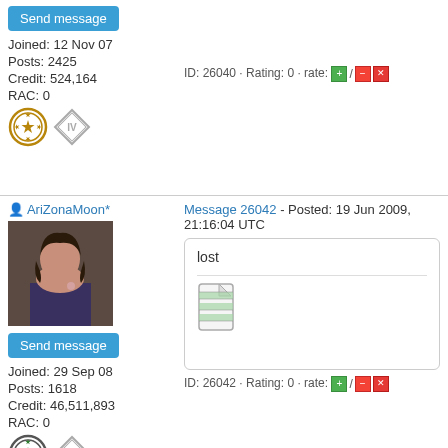Send message
Joined: 12 Nov 07
Posts: 2425
Credit: 524,164
RAC: 0
[Figure (other): Two user badge icons - star circle badge and diamond IV badge]
ID: 26040 · Rating: 0 · rate: +/-/x
AriZonaMoon*
[Figure (photo): Profile photo of a woman with dark hair]
Send message
Joined: 29 Sep 08
Posts: 1618
Credit: 46,511,893
RAC: 0
[Figure (other): Two user badge icons - star circle badge and diamond III badge]
Message 26042 - Posted: 19 Jun 2009, 21:16:04 UTC
lost
[Figure (illustration): Small document/file icon with green and white stripes]
ID: 26042 · Rating: 0 · rate: +/-/x